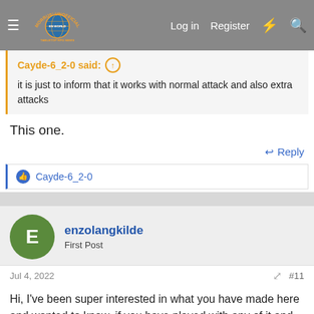Morrus' Unofficial Tabletop RPG News — Log in  Register
Cayde-6_2-0 said:
it is just to inform that it works with normal attack and also extra attacks
This one.
Reply
Cayde-6_2-0
enzolangkilde
First Post
Jul 4, 2022
#11
Hi, I've been super interested in what you have made here and wanted to know, if you have played with any of it and